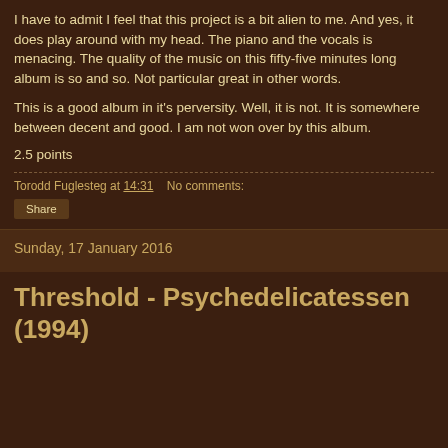I have to admit I feel that this project is a bit alien to me. And yes, it does play around with my head. The piano and the vocals is menacing. The quality of the music on this fifty-five minutes long album is so and so. Not particular great in other words.
This is a good album in it's perversity. Well, it is not. It is somewhere between decent and good. I am not won over by this album.
2.5 points
Torodd Fuglesteg at 14:31   No comments:
Share
Sunday, 17 January 2016
Threshold - Psychedelicatessen (1994)